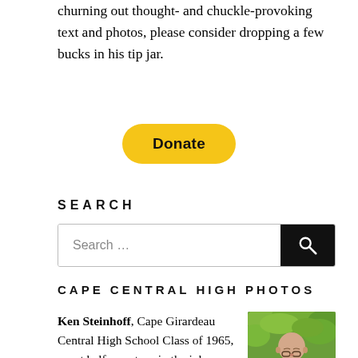churning out thought- and chuckle-provoking text and photos, please consider dropping a few bucks in his tip jar.
[Figure (other): PayPal Donate button — yellow pill-shaped button with bold text 'Donate']
SEARCH
[Figure (screenshot): Search input box with placeholder 'Search …' and a black search button with magnifying glass icon]
CAPE CENTRAL HIGH PHOTOS
Ken Steinhoff, Cape Girardeau Central High School Class of 1965, spent half a century in the ink-slinging business for papers in
[Figure (photo): Photo of Ken Steinhoff, a bald man with glasses, outdoors with green foliage background]